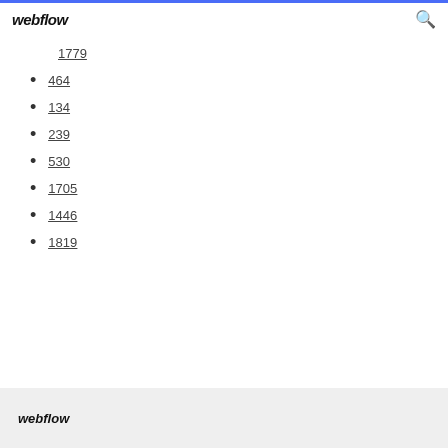webflow
1779
464
134
239
530
1705
1446
1819
webflow